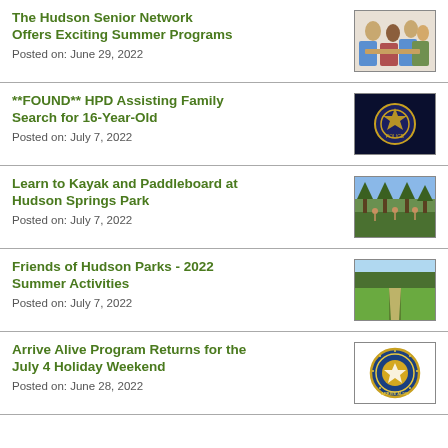The Hudson Senior Network Offers Exciting Summer Programs
Posted on: June 29, 2022
[Figure (photo): Group of elderly and young people socializing indoors]
**FOUND** HPD Assisting Family Search for 16-Year-Old
Posted on: July 7, 2022
[Figure (photo): Police badge on dark blue background]
Learn to Kayak and Paddleboard at Hudson Springs Park
Posted on: July 7, 2022
[Figure (photo): People doing paddleboard yoga in a park setting]
Friends of Hudson Parks - 2022 Summer Activities
Posted on: July 7, 2022
[Figure (photo): A pathway through a green park field]
Arrive Alive Program Returns for the July 4 Holiday Weekend
Posted on: June 28, 2022
[Figure (logo): Gold and blue circular police or government seal]